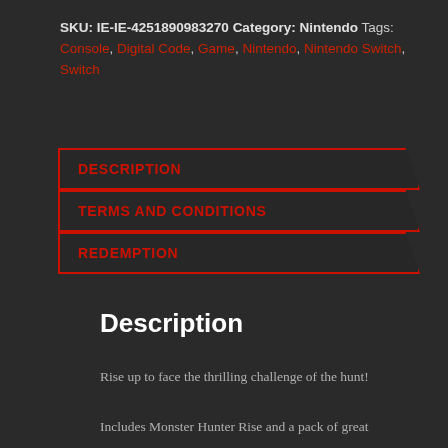SKU: IE-IE-4251890983270 Category: Nintendo Tags: Console, Digital Code, Game, Nintendo, Nintendo Switch, Switch
DESCRIPTION
TERMS AND CONDITIONS
REDEMPTION
Description
Rise up to face the thrilling challenge of the hunt!
Includes Monster Hunter Rise and a pack of great